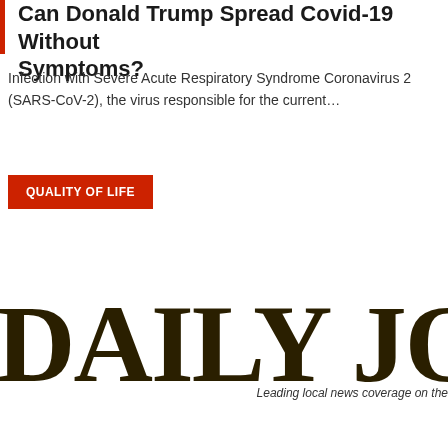Can Donald Trump Spread Covid-19 Without Symptoms?
Infection with Severe Acute Respiratory Syndrome Coronavirus 2 (SARS-CoV-2), the virus responsible for the current…
QUALITY OF LIFE
[Figure (logo): Daily Journal newspaper logo with tagline 'Leading local news coverage on the']